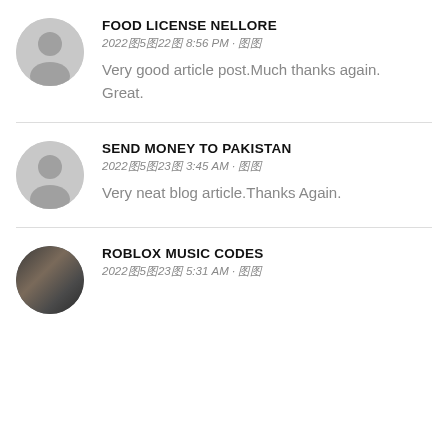FOOD LICENSE NELLORE
2022年5月22日 8:56 PM · 返回
Very good article post.Much thanks again. Great.
SEND MONEY TO PAKISTAN
2022年5月23日 3:45 AM · 返回
Very neat blog article.Thanks Again.
ROBLOX MUSIC CODES
2022年5月23日 5:31 AM · 返回